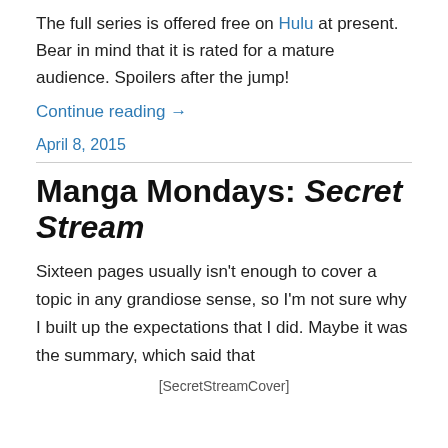The full series is offered free on Hulu at present. Bear in mind that it is rated for a mature audience. Spoilers after the jump!
Continue reading →
April 8, 2015
Manga Mondays: Secret Stream
Sixteen pages usually isn't enough to cover a topic in any grandiose sense, so I'm not sure why I built up the expectations that I did. Maybe it was the summary, which said that
[Figure (other): Book cover image labeled SecretStreamCover]